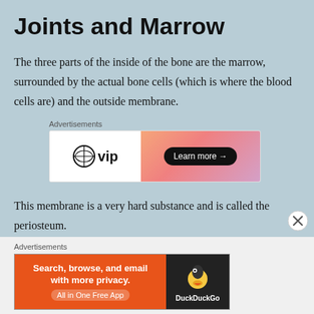Joints and Marrow
The three parts of the inside of the bone are the marrow, surrounded by the actual bone cells (which is where the blood cells are) and the outside membrane.
[Figure (other): WordPress VIP advertisement banner with 'Learn more →' button on gradient orange/pink background]
This membrane is a very hard substance and is called the periosteum.
[Figure (other): DuckDuckGo advertisement banner: 'Search, browse, and email with more privacy. All in One Free App' on orange background with DuckDuckGo logo on dark right side]